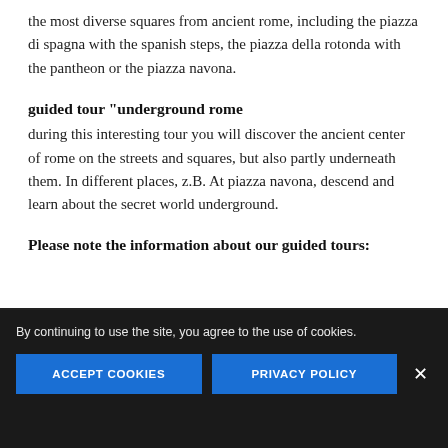the most diverse squares from ancient rome, including the piazza di spagna with the spanish steps, the piazza della rotonda with the pantheon or the piazza navona.
guided tour "underground rome
during this interesting tour you will discover the ancient center of rome on the streets and squares, but also partly underneath them. In different places, z.B. At piazza navona, descend and learn about the secret world underground.
Please note the information about our guided tours:
By continuing to use the site, you agree to the use of cookies.